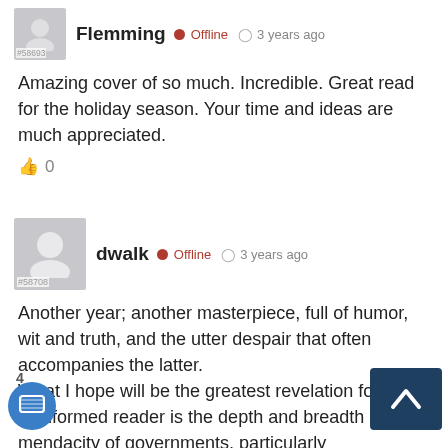#58693 Flemming • Offline  3 years ago
Amazing cover of so much. Incredible. Great read for the holiday season. Your time and ideas are much appreciated.
👍 0
#58708 dwalk • Offline  3 years ago
Another year; another masterpiece, full of humor, wit and truth, and the utter despair that often accompanies the latter. What I hope will be the greatest revelation for many uninformed readers is the depth and breadth of the mendacity of governments, particularly